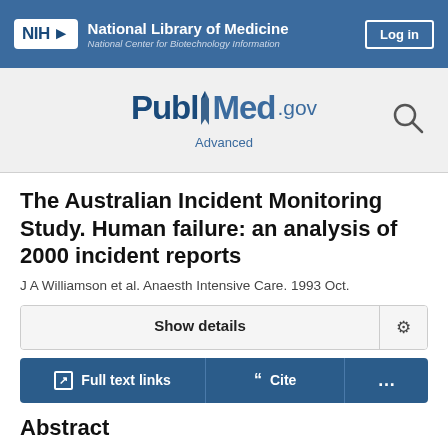NIH National Library of Medicine National Center for Biotechnology Information | Log in
[Figure (logo): PubMed.gov logo with search icon and Advanced link]
The Australian Incident Monitoring Study. Human failure: an analysis of 2000 incident reports
J A Williamson et al. Anaesth Intensive Care. 1993 Oct.
Show details
Full text links | Cite | ...
Abstract